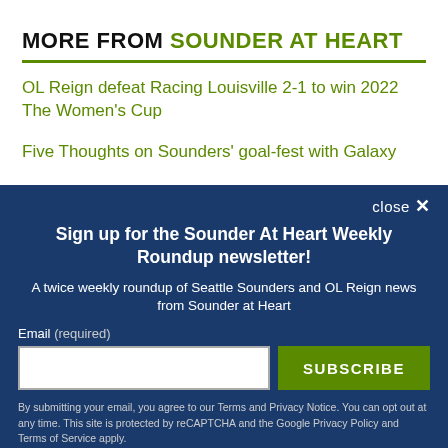MORE FROM SOUNDER AT HEART
OL Reign defeat Racing Louisville 2-1 to win 2022 The Women's Cup
Five Thoughts on Sounders' goal-fest with Galaxy
close ×
Sign up for the Sounder At Heart Weekly Roundup newsletter!
A twice weekly roundup of Seattle Sounders and OL Reign news from Sounder at Heart
Email (required)
SUBSCRIBE
By submitting your email, you agree to our Terms and Privacy Notice. You can opt out at any time. This site is protected by reCAPTCHA and the Google Privacy Policy and Terms of Service apply.